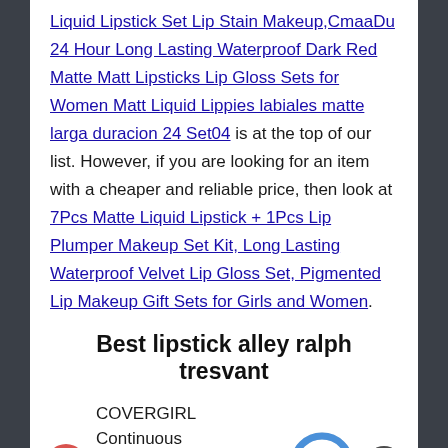Liquid Lipstick Set Lip Stain Makeup,CmaaDu 24 Hour Long Lasting Waterproof Dark Red Matte Matt Lipsticks Lip Gloss Sets for Women Matt Liquid Lippies labiales matte larga duracion 24 Set04 is at the top of our list. However, if you are looking for an item with a cheaper and reliable price, then look at 7Pcs Matte Liquid Lipstick + 1Pcs Lip Plumper Makeup Set Kit, Long Lasting Waterproof Velvet Lip Gloss Set, Pigmented Lip Makeup Gift Sets for Girls and Women.
Best lipstick alley ralph tresvant
1. COVERGIRL Continuous Color Lipstick Rose Quartz — Score: 9.9